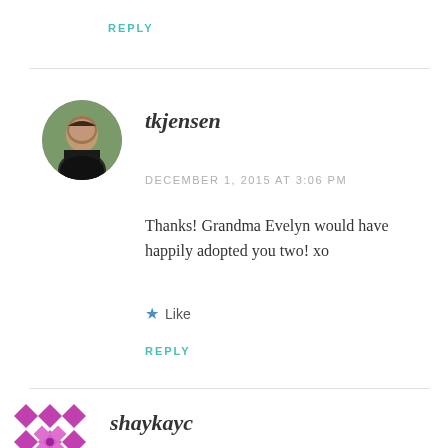REPLY
tkjensen
DECEMBER 1, 2015 AT 3:06 PM
Thanks! Grandma Evelyn would have happily adopted you two! xo
Like
REPLY
[Figure (photo): Circular avatar of tkjensen — a person outdoors with trees in background]
shaykayc
[Figure (logo): Circular decorative geometric pattern avatar in magenta/pink for shaykayc]